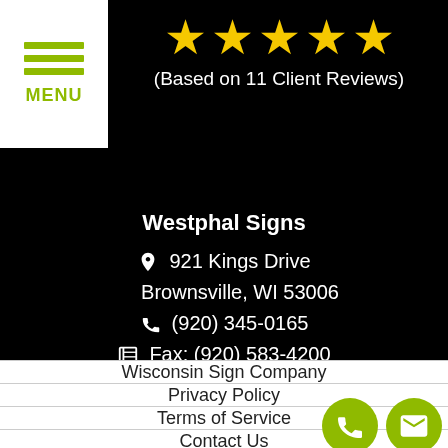[Figure (other): Five yellow star rating icons]
(Based on 11 Client Reviews)
Westphal Signs
921 Kings Drive
Brownsville, WI 53006
(920) 345-0165
Fax: (920) 583-4200
8am to 5pm Mon-Fri
Wisconsin Sign Company
Privacy Policy
Terms of Service
Contact Us